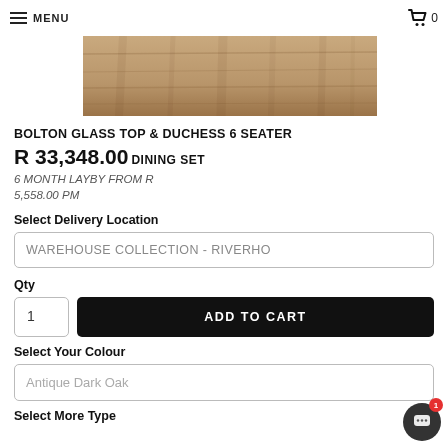MENU  🛒 0
[Figure (photo): Product image showing a wooden dining table top with a warm brown wood grain texture]
BOLTON GLASS TOP & DUCHESS 6 SEATER
R 33,348.00 DINING SET
6 MONTH LAYBY FROM R 5,558.00 PM
Select Delivery Location
WAREHOUSE COLLECTION - RIVERHO
Qty
1
ADD TO CART
Select Your Colour
Antique Dark Oak
Select More Type